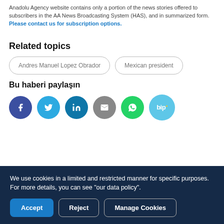Anadolu Agency website contains only a portion of the news stories offered to subscribers in the AA News Broadcasting System (HAS), and in summarized form. Please contact us for subscription options.
Related topics
Andres Manuel Lopez Obrador
Mexican president
Bu haberi paylaşın
[Figure (infographic): Social media share buttons: Facebook, Twitter, LinkedIn, Email, WhatsApp, BiP]
We use cookies in a limited and restricted manner for specific purposes. For more details, you can see "our data policy".
Accept  Reject  Manage Cookies